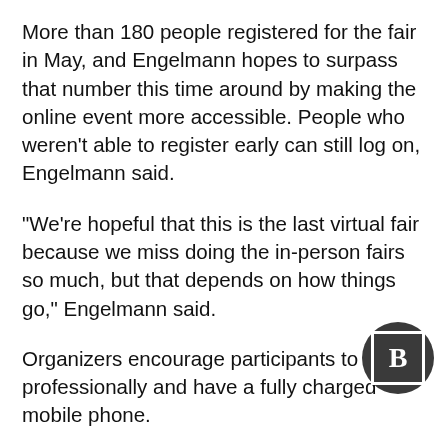More than 180 people registered for the fair in May, and Engelmann hopes to surpass that number this time around by making the online event more accessible. People who weren't able to register early can still log on, Engelmann said.
“We’re hopeful that this is the last virtual fair because we miss doing the in-person fairs so much, but that depends on how things go,” Engelmann said.
Organizers encourage participants to dress professionally and have a fully charged mobile phone.
Do stories like this matter to you? Subscribe to Block Club Chicago. Every dime we make funds
[Figure (logo): Block Club Chicago logo: dark circular badge with white square border and white letter B inside]